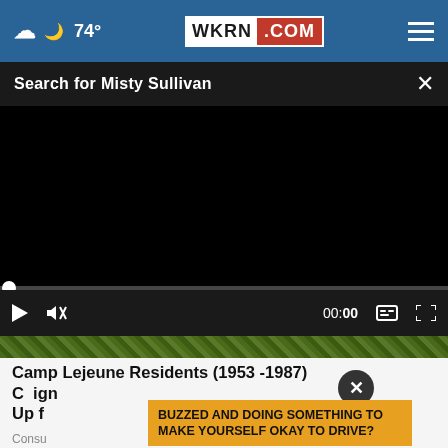74° WKRN.COM
Search for Misty Sullivan
[Figure (screenshot): Black video player with progress bar and controls showing 00:00 timestamp, play button, mute button, captions and fullscreen icons]
Camp Lejeune Residents (1953 -1987) Can Sign Up f...
BUZZED AND DOING SOMETHING TO MAKE YOURSELF OKAY TO DRIVE?
Consu...